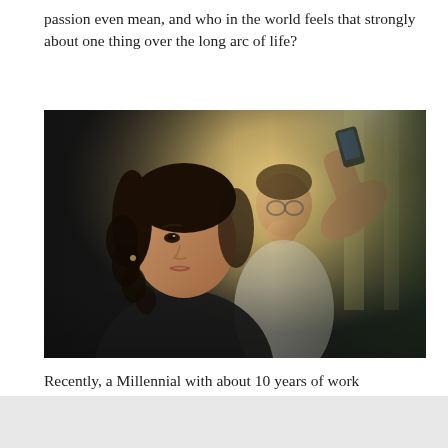passion even mean, and who in the world feels that strongly about one thing over the long arc of life?
[Figure (photo): Two professionals, a woman with curly dark hair in the foreground looking upward, and a man with glasses behind her on the phone, in a blurred office environment with warm backlighting.]
Recently, a Millennial with about 10 years of work experience was contemplating a career change.  He discussed being 'passionate' about developing others, especially leaders.  But upon further scrutiny, he revealed that the real driver behind shifting careers wasn't passion at